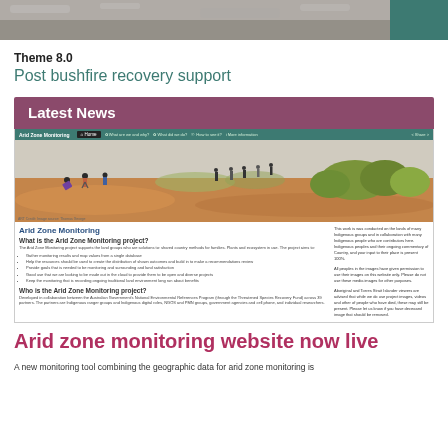[Figure (photo): Top banner: landscape photo strip on left, teal green rectangle on right]
Theme 8.0
Post bushfire recovery support
Latest News
[Figure (screenshot): Screenshot of Arid Zone Monitoring website showing navigation bar, landscape photo of people walking in arid terrain, and text content about the Arid Zone Monitoring project]
Arid zone monitoring website now live
Continuation text about arid zone monitoring website